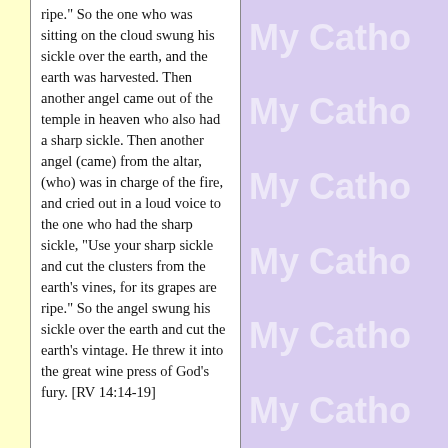ripe." So the one who was sitting on the cloud swung his sickle over the earth, and the earth was harvested. Then another angel came out of the temple in heaven who also had a sharp sickle. Then another angel (came) from the altar, (who) was in charge of the fire, and cried out in a loud voice to the one who had the sharp sickle, "Use your sharp sickle and cut the clusters from the earth's vines, for its grapes are ripe." So the angel swung his sickle over the earth and cut the earth's vintage. He threw it into the great wine press of God's fury. [RV 14:14-19]
[Figure (other): Repeated watermark text 'My Catho' (truncated 'My Catholic') in light color on purple/lavender background, appearing 6 times vertically]